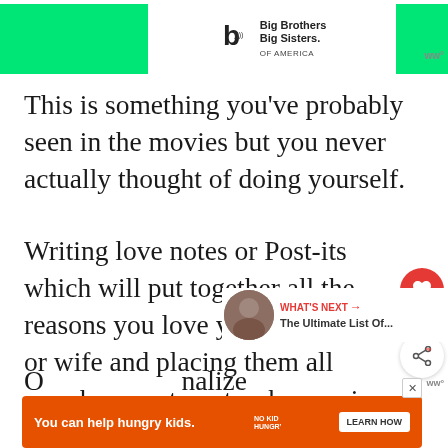[Figure (screenshot): Advertisement banner for Big Brothers Big Sisters of America with green background sections]
This is something you've probably seen in the movies but you never actually thought of doing yourself.
Writing love notes or Post-its which will put together all the reasons you love your girlfriend or wife and placing them all over her apartment or her car is something every girl will fall for.
[Figure (screenshot): WHAT'S NEXT arrow and thumbnail for The Ultimate List Of...]
O
[Figure (screenshot): Advertisement banner: You can help hungry kids. No Kid Hungry. LEARN HOW]